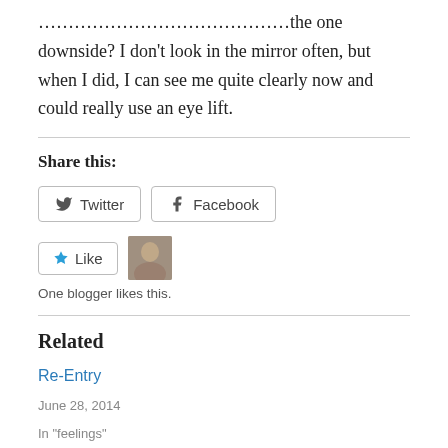……………………………………the one downside? I don't look in the mirror often, but when I did, I can see me quite clearly now and could really use an eye lift.
Share this:
Twitter Facebook
Like | One blogger likes this.
Related
Re-Entry
June 28, 2014
In "feelings"
Tomorrow Tomorrow
April 27, 2015